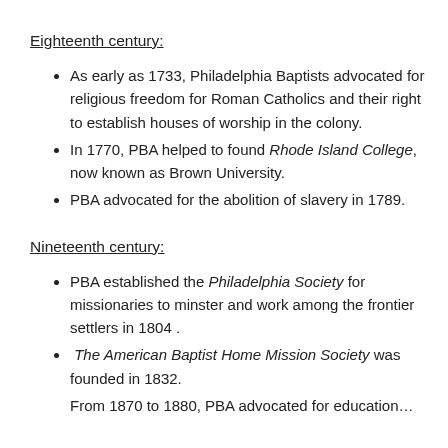Eighteenth century:
As early as 1733, Philadelphia Baptists advocated for religious freedom for Roman Catholics and their right to establish houses of worship in the colony.
In 1770, PBA helped to found Rhode Island College, now known as Brown University.
PBA advocated for the abolition of slavery in 1789.
Nineteenth century:
PBA established the Philadelphia Society for missionaries to minster and work among the frontier settlers in 1804 .
The American Baptist Home Mission Society was founded in 1832.
From 1870 to 1880, PBA advocated for education…